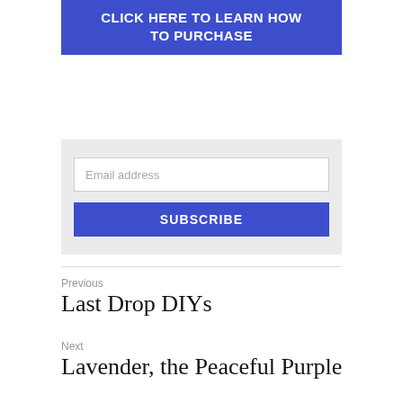[Figure (other): Blue button/banner with text 'CLICK HERE TO LEARN HOW TO PURCHASE' in white bold uppercase letters on blue background]
[Figure (other): Email subscription form with an email address input field and a blue SUBSCRIBE button on a light gray background]
Previous
Last Drop DIYs
Next
Lavender, the Peaceful Purple